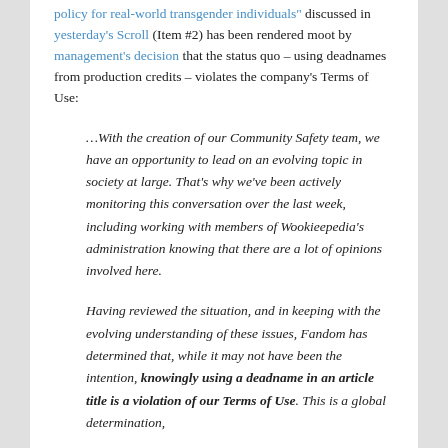policy for real-world transgender individuals" discussed in yesterday's Scroll (Item #2) has been rendered moot by management's decision that the status quo – using deadnames from production credits – violates the company's Terms of Use:
…With the creation of our Community Safety team, we have an opportunity to lead on an evolving topic in society at large. That's why we've been actively monitoring this conversation over the last week, including working with members of Wookieepedia's administration knowing that there are a lot of opinions involved here.
Having reviewed the situation, and in keeping with the evolving understanding of these issues, Fandom has determined that, while it may not have been the intention, knowingly using a deadname in an article title is a violation of our Terms of Use. This is a global determination,